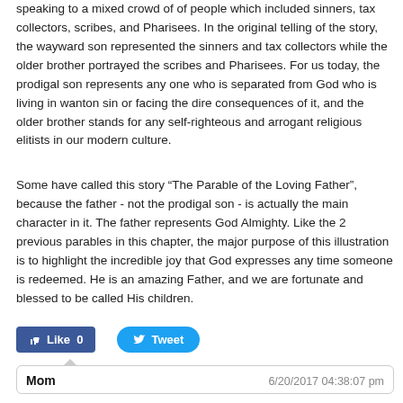speaking to a mixed crowd of of people which included sinners, tax collectors, scribes, and Pharisees. In the original telling of the story, the wayward son represented the sinners and tax collectors while the older brother portrayed the scribes and Pharisees. For us today, the prodigal son represents any one who is separated from God who is living in wanton sin or facing the dire consequences of it, and the older brother stands for any self-righteous and arrogant religious elitists in our modern culture.
Some have called this story “The Parable of the Loving Father”, because the father - not the prodigal son - is actually the main character in it. The father represents God Almighty. Like the 2 previous parables in this chapter, the major purpose of this illustration is to highlight the incredible joy that God expresses any time someone is redeemed. He is an amazing Father, and we are fortunate and blessed to be called His children.
[Figure (other): Social media buttons: Facebook Like (count 0) and Twitter Tweet button]
Mom   6/20/2017 04:38:07 pm